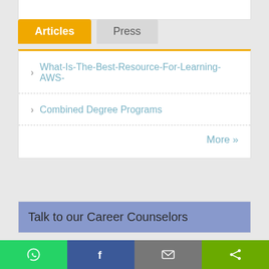Articles | Press
What-Is-The-Best-Resource-For-Learning-AWS-
Combined Degree Programs
More »
Talk to our Career Counselors